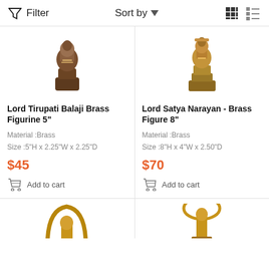Filter   Sort by   [grid view] [list view]
[Figure (photo): Lord Tirupati Balaji brass figurine product image, cropped at top]
[Figure (photo): Lord Satya Narayan brass figure product image, cropped at top]
Lord Tirupati Balaji Brass Figurine 5"
Material :Brass
Size :5"H x 2.25"W x 2.25"D
$45
Add to cart
Lord Satya Narayan - Brass Figure 8"
Material :Brass
Size :8"H x 4"W x 2.50"D
$70
Add to cart
[Figure (photo): Partial bottom product image left — brass figurine with arch/halo, cropped]
[Figure (photo): Partial bottom product image right — brass figurine with halo/crown, cropped]